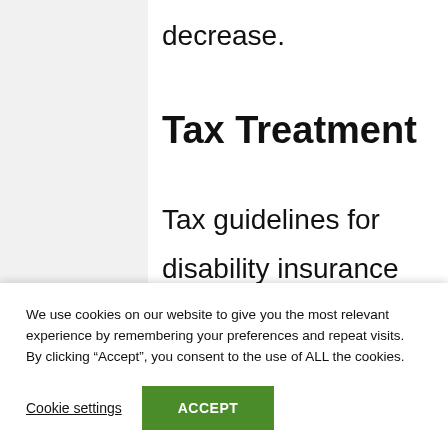decrease.
Tax Treatment
Tax guidelines for disability insurance policies are very basic. Your month-to-month tax advantage will be exempt if you have paid the premiums for
We use cookies on our website to give you the most relevant experience by remembering your preferences and repeat visits. By clicking “Accept”, you consent to the use of ALL the cookies.
Cookie settings
ACCEPT